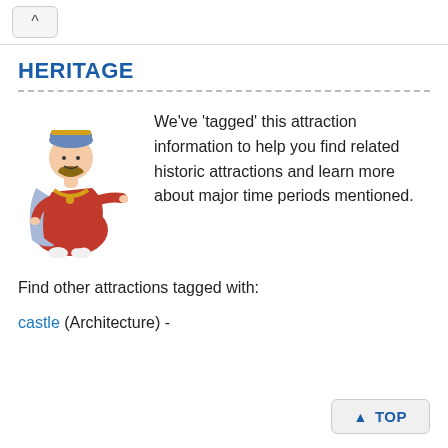^ (back button)
HERITAGE
[Figure (illustration): Cartoon illustration of a medieval king or henry VIII-like figure dressed in red and blue royal robes, pointing to the right]
We've 'tagged' this attraction information to help you find related historic attractions and learn more about major time periods mentioned.
Find other attractions tagged with:
castle (Architecture) -
▲ TOP